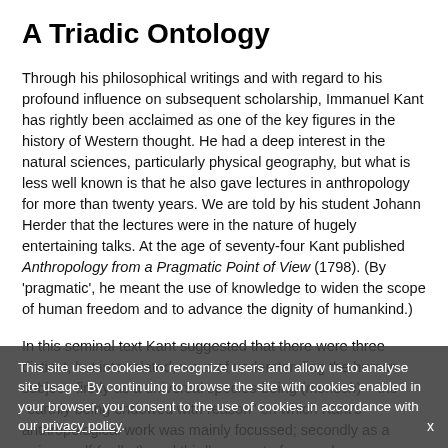A Triadic Ontology
Through his philosophical writings and with regard to his profound influence on subsequent scholarship, Immanuel Kant has rightly been acclaimed as one of the key figures in the history of Western thought. He had a deep interest in the natural sciences, particularly physical geography, but what is less well known is that he also gave lectures in anthropology for more than twenty years. We are told by his student Johann Herder that the lectures were in the nature of hugely entertaining talks. At the age of seventy-four Kant published Anthropology from a Pragmatic Point of View (1798). (By 'pragmatic', he meant the use of knowledge to widen the scope of human freedom and to advance the dignity of humankind.)
In this seminal text Kant suggested that there were three distinct, but interrelated, ways of understanding the human subject: firstly as a universal species-being (mensch) – the "earthly being endowed with reason" on which Kant's anthropological work was mainly focussed; secondly as a unique self (selbst); and thirdly as part of a people – as a member of a particular social group (volk). (Notwithstanding the last element, Herder always insisted that Kant, with his emphasis on universal human faculties such as imagination, perception, memory, feelings, desires and understanding, tended to downplay the
This site uses cookies to recognize users and allow us to analyse site usage. By continuing to browse the site with cookies enabled in your browser, you consent to the use of cookies in accordance with our privacy policy.